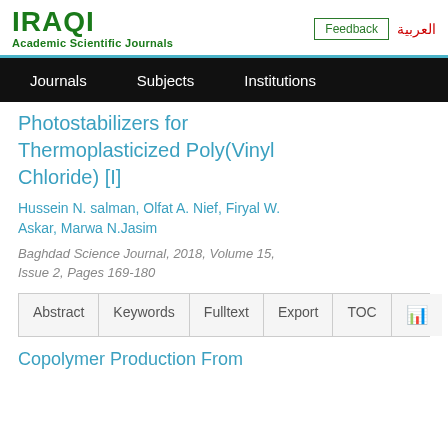IRAQI Academic Scientific Journals | Feedback | العربية
Photostabilizers for Thermoplasticized Poly(Vinyl Chloride) [I]
Hussein N. salman, Olfat A. Nief, Firyal W. Askar, Marwa N.Jasim
Baghdad Science Journal, 2018, Volume 15, Issue 2, Pages 169-180
Copolymer Production From